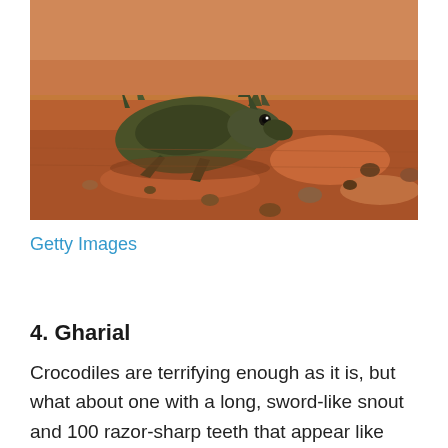[Figure (photo): A thorny devil lizard (Moloch horridus) on red desert sand/gravel ground, viewed from the side, showing its spiky armored body and distinctive horns.]
Getty Images
4. Gharial
Crocodiles are terrifying enough as it is, but what about one with a long, sword-like snout and 100 razor-sharp teeth that appear like they might chop you up for dinner? A gharial, an